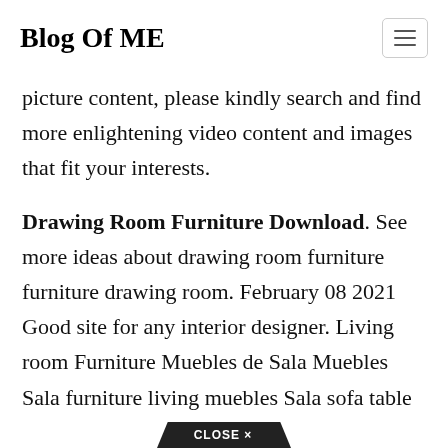Blog Of ME
picture content, please kindly search and find more enlightening video content and images that fit your interests.
Drawing Room Furniture Download. See more ideas about drawing room furniture furniture drawing room. February 08 2021 Good site for any interior designer. Living room Furniture Muebles de Sala Muebles Sala furniture living muebles Sala sofa table